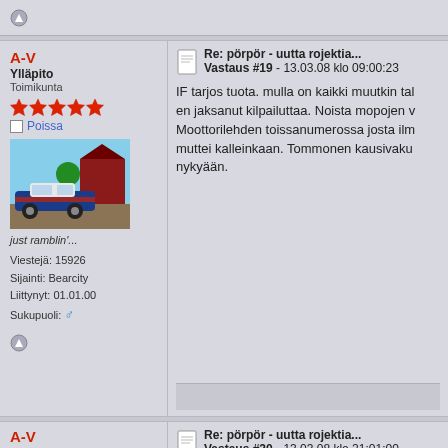A-V
Ylläpito
Toimikunta
Poissa
just ramblin'...
Viestejä: 15926
Sijainti: Bearcity
Liittynyt: 01.01.00
Sukupuoli: (male)
Re: pörpör - uutta rojektia...
Vastaus #19 - 13.03.08 klo 09:00:23
IF tarjos tuota. mulla on kaikki muutkin tal en jaksanut kilpailuttaa. Noista mopojen v Moottorilehden toissanumerossa josta ilm muttei kalleinkaan. Tommonen kausivaku nykyään.
A-V
Ylläpito
Toimikunta
Poissa
Re: pörpör - uutta rojektia...
Vastaus #20 - 13.03.08 klo 21:01:00
jos muuten jollakin on tuttu tai muu joka t paukuttimeen järkihintaan niin saa ilmoite